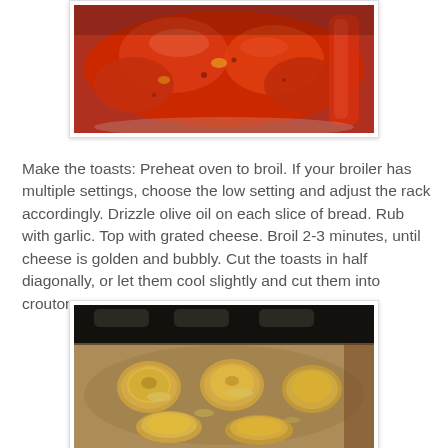[Figure (photo): Close-up photo of a bowl with cooked tomatoes and peppers, red and glossy, in a cooking dish]
Make the toasts: Preheat oven to broil. If your broiler has multiple settings, choose the low setting and adjust the rack accordingly. Drizzle olive oil on each slice of bread. Rub with garlic. Top with grated cheese. Broil 2-3 minutes, until cheese is golden and bubbly. Cut the toasts in half diagonally, or let them cool slightly and cut them into croutons.
[Figure (photo): Photo of a baking sheet with round cheese toasts broiled golden and bubbly, placed on a metal tray under an oven broiler]